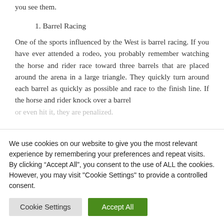you see them.
1. Barrel Racing
One of the sports influenced by the West is barrel racing. If you have ever attended a rodeo, you probably remember watching the horse and rider race toward three barrels that are placed around the arena in a large triangle. They quickly turn around each barrel as quickly as possible and race to the finish line. If the horse and rider knock over a barrel or even hit it, they are penalized.
We use cookies on our website to give you the most relevant experience by remembering your preferences and repeat visits. By clicking “Accept All”, you consent to the use of ALL the cookies. However, you may visit "Cookie Settings" to provide a controlled consent.